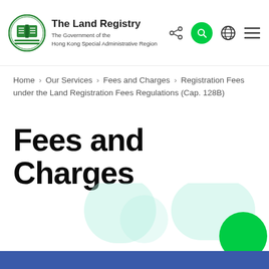The Land Registry — The Government of the Hong Kong Special Administrative Region
Home > Our Services > Fees and Charges > Registration Fees under the Land Registration Fees Regulations (Cap. 128B)
Fees and Charges
[Figure (illustration): Decorative light teal geometric shapes (large rounded rectangles/circles) in the background of the page, along with a solid green circle at the bottom right]